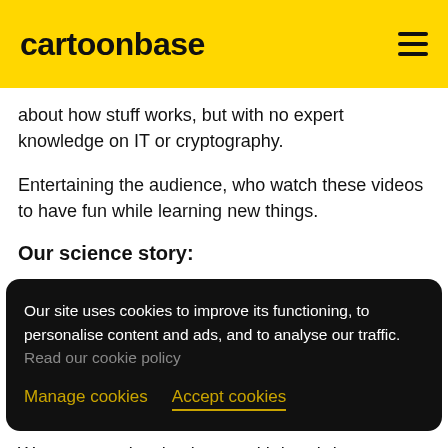cartoonbase
about how stuff works, but with no expert knowledge on IT or cryptography.
Entertaining the audience, who watch these videos to have fun while learning new things.
Our science story:
Our site uses cookies to improve its functioning, to personalise content and ads, and to analyse our traffic.  Read our cookie policy
Manage cookies   Accept cookies
We create a visual universe with hand-drawn